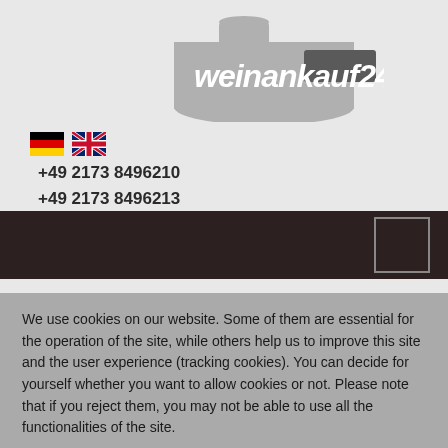[Figure (logo): weinankauf24.de logo with wine bottle shape in grey, white italic text 'weinankauf24.de' and a darker grey label rectangle on the bottle neck]
[Figure (illustration): German flag emoji and UK flag emoji for language selection]
+49 2173 8496210
+49 2173 8496213
[Figure (other): Dark brown navigation bar with a square outline button on the right side]
We use cookies on our website. Some of them are essential for the operation of the site, while others help us to improve this site and the user experience (tracking cookies). You can decide for yourself whether you want to allow cookies or not. Please note that if you reject them, you may not be able to use all the functionalities of the site.
Ok
Decline
More information